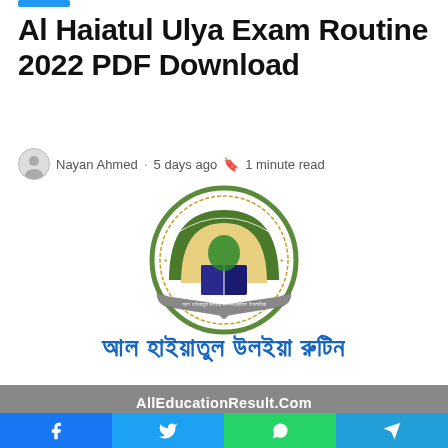Al Haiatul Ulya Exam Routine 2022 PDF Download
Nayan Ahmed · 5 days ago 🔖 1 minute read
[Figure (logo): Al Haiatul Ulya circular logo with Arabic text, an arch with an open book and map of Bangladesh inside, surrounded by a decorative ribbon banner]
আল হাইয়াতুল উলইয়া রুটিন
AllEducationResult.Com